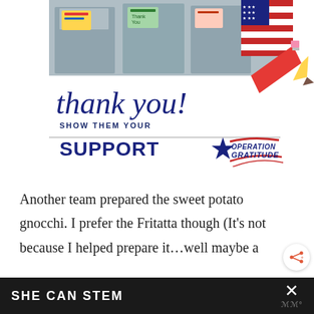[Figure (photo): Photo of people in gray uniforms holding colorful cards and signs, with an American flag visible. Below the photo is a 'Thank You!' script graphic with a pencil illustration and the text 'SHOW THEM YOUR SUPPORT' with the Operation Gratitude logo.]
Another team prepared the sweet potato gnocchi. I prefer the Fritatta though (It's not because I helped prepare it...well maybe a
SHE CAN STEM